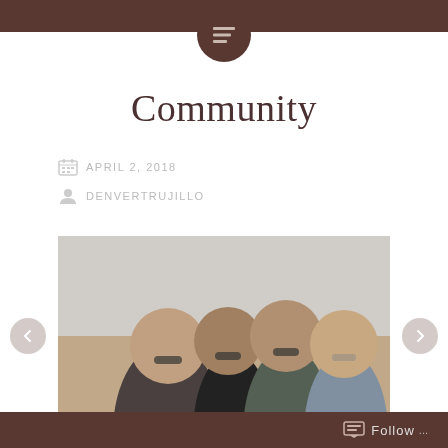Community
APRIL 2, 2018
DENVERTRUJILLO
[Figure (photo): Four young friends with sunglasses laughing and embracing outdoors against a bright sky]
Follow